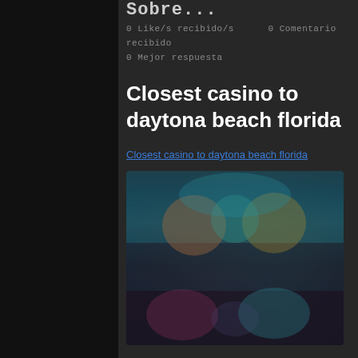Sobre...
0 Like/s recibido/s    0 Comentario recibido
0 Mejor respuesta
Closest casino to daytona beach florida
Closest casino to daytona beach florida
[Figure (photo): Blurred screenshot of a casino or gaming interface with colorful slot machine graphics]